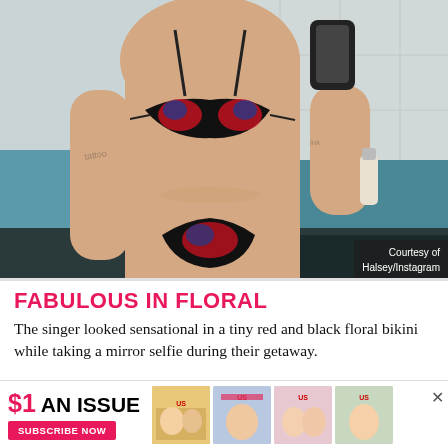[Figure (photo): Mirror selfie photo of Halsey wearing a red and black floral bikini, taken in a bathroom/pool area with teal countertop visible. She is holding her phone up in the mirror. Tattoos visible on arms and torso.]
Courtesy of Halsey/Instagram
FABULOUS IN FLORAL
The singer looked sensational in a tiny red and black floral bikini while taking a mirror selfie during their getaway.
[Figure (advertisement): US Weekly subscription advertisement - $1 AN ISSUE with SUBSCRIBE NOW button and magazine cover images]